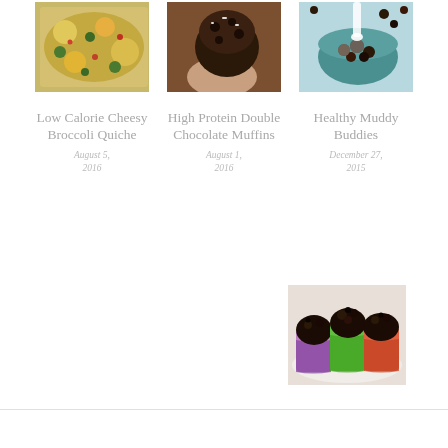[Figure (photo): Low Calorie Cheesy Broccoli Quiche - baked casserole dish]
[Figure (photo): High Protein Double Chocolate Muffins - hand holding a chocolate muffin]
[Figure (photo): Healthy Muddy Buddies - bowl with milk being poured over muddy buddies]
Low Calorie Cheesy Broccoli Quiche
August 5, 2016
High Protein Double Chocolate Muffins
August 1, 2016
Healthy Muddy Buddies
December 27, 2015
[Figure (photo): Chocolate cupcakes in colorful liners on a plate]